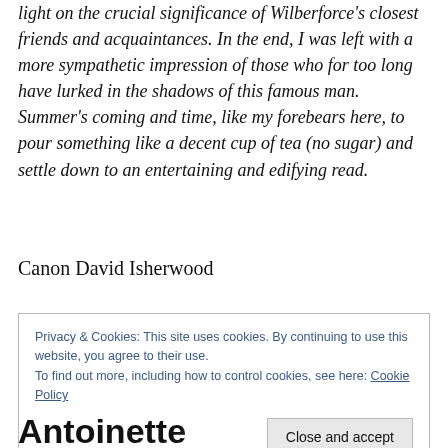light on the crucial significance of Wilberforce's closest friends and acquaintances. In the end, I was left with a more sympathetic impression of those who for too long have lurked in the shadows of this famous man. Summer's coming and time, like my forebears here, to pour something like a decent cup of tea (no sugar) and settle down to an entertaining and edifying read.
Canon David Isherwood
Privacy & Cookies: This site uses cookies. By continuing to use this website, you agree to their use.
To find out more, including how to control cookies, see here: Cookie Policy
Close and accept
Antoinette